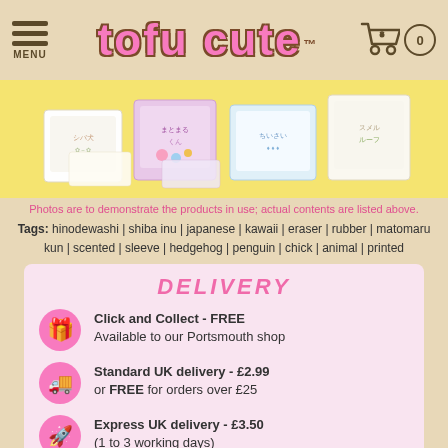tofu cute™ — MENU — Cart: 0
[Figure (photo): Product photo showing kawaii animal eraser sets in white/cream packaging with cute character illustrations, displayed on a yellow background]
Photos are to demonstrate the products in use; actual contents are listed above.
Tags: hinodewashi | shiba inu | japanese | kawaii | eraser | rubber | matomaru kun | scented | sleeve | hedgehog | penguin | chick | animal | printed
DELIVERY
Click and Collect - FREE — Available to our Portsmouth shop
Standard UK delivery - £2.99 or FREE for orders over £25
Express UK delivery - £3.50 (1 to 3 working days)
Europe delivery from £2.00